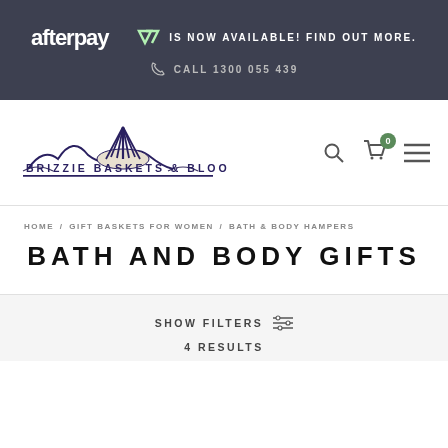afterpay IS NOW AVAILABLE! FIND OUT MORE. CALL 1300 055 439
[Figure (logo): Brizzie Baskets & Blooms logo with dark blue fan/basket illustration and text BRIZZIE BASKETS & BLOOMS]
HOME / GIFT BASKETS FOR WOMEN / BATH & BODY HAMPERS
BATH AND BODY GIFTS
SHOW FILTERS
4 RESULTS